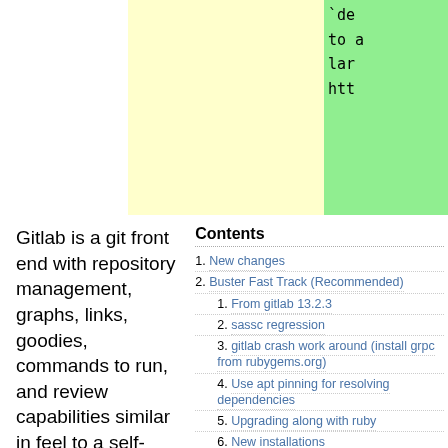[Figure (screenshot): Code block with light yellow background and green highlighted right side showing partial code text: `de`, to a, lar, htt]
Gitlab is a git front end with repository management, graphs, links, goodies, commands to run, and review capabilities similar in feel to a self-hosted ? GitHub.
Contents
1. New changes
2. Buster Fast Track (Recommended)
1. From gitlab 13.2.3
2. sassc regression
3. gitlab crash work around (install grpc from rubygems.org)
4. Use apt pinning for resolving dependencies
5. Upgrading along with ruby
6. New installations
3. Buster Fast Track Staging
4. Unstable (be careful when updating packages)
1. Known Issues
5. Experimental - During freeze and transitions
6. Gitlab on Stretch
7. Gitlab with apache2
8. Gitlab Common Errors